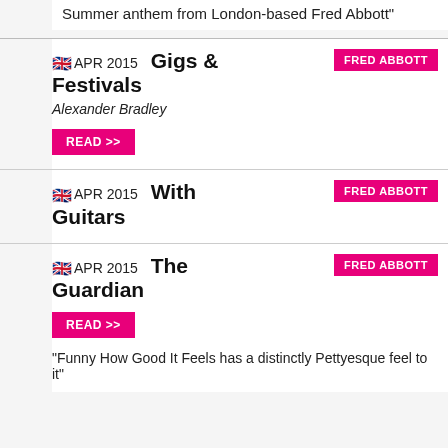Summer anthem from London-based Fred Abbott"
🇬🇧 APR 2015  Gigs & Festivals  FRED ABBOTT
Alexander Bradley
READ >>
🇬🇧 APR 2015  With Guitars  FRED ABBOTT
🇬🇧 APR 2015  The Guardian  FRED ABBOTT
READ >>
"Funny How Good It Feels has a distinctly Pettyesque feel to it"